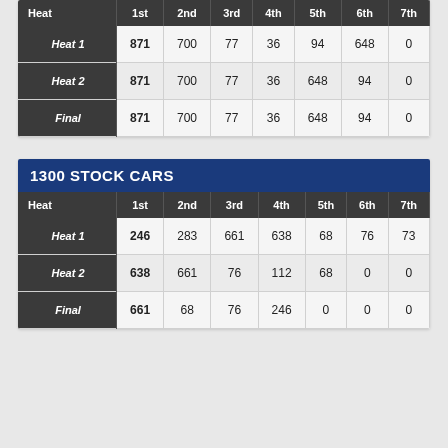| Heat | 1st | 2nd | 3rd | 4th | 5th | 6th | 7th |
| --- | --- | --- | --- | --- | --- | --- | --- |
| Heat 1 | 871 | 700 | 77 | 36 | 94 | 648 | 0 |
| Heat 2 | 871 | 700 | 77 | 36 | 648 | 94 | 0 |
| Final | 871 | 700 | 77 | 36 | 648 | 94 | 0 |
1300 STOCK CARS
| Heat | 1st | 2nd | 3rd | 4th | 5th | 6th | 7th |
| --- | --- | --- | --- | --- | --- | --- | --- |
| Heat 1 | 246 | 283 | 661 | 638 | 68 | 76 | 73 |
| Heat 2 | 638 | 661 | 76 | 112 | 68 | 0 | 0 |
| Final | 661 | 68 | 76 | 246 | 0 | 0 | 0 |